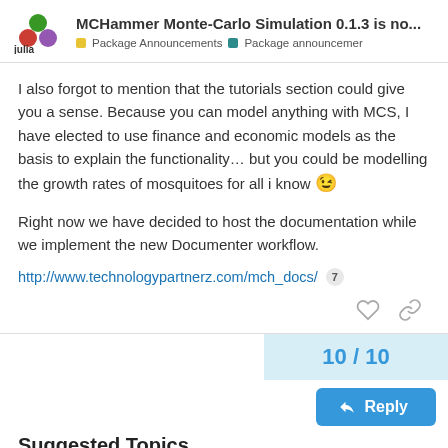MCHammer Monte-Carlo Simulation 0.1.3 is no... | Package Announcements | Package announcemer
I also forgot to mention that the tutorials section could give you a sense. Because you can model anything with MCS, I have elected to use finance and economic models as the basis to explain the functionality… but you could be modelling the growth rates of mosquitoes for all i know 😉
Right now we have decided to host the documentation while we implement the new Documenter workflow.
http://www.technologypartnerz.com/mch_docs/ 7
10 / 10
Reply
Suggested Topics